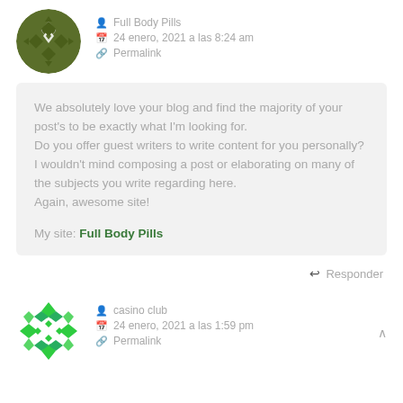[Figure (illustration): Dark olive green circular avatar with geometric diamond/cross pattern]
Full Body Pills
24 enero, 2021 a las 8:24 am
Permalink
We absolutely love your blog and find the majority of your post's to be exactly what I'm looking for.
Do you offer guest writers to write content for you personally?
I wouldn't mind composing a post or elaborating on many of the subjects you write regarding here.
Again, awesome site!

My site: Full Body Pills
Responder
[Figure (illustration): Bright green circular avatar with geometric diamond/cross pattern]
casino club
24 enero, 2021 a las 1:59 pm
Permalink